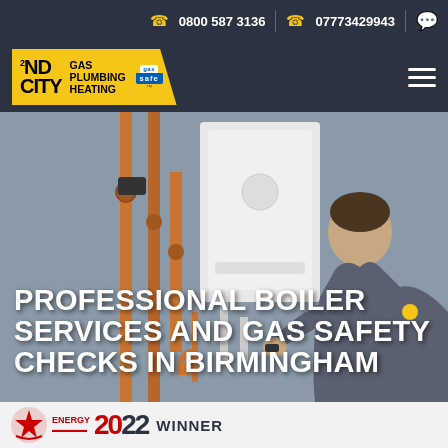0800 587 3136  |  07773429943
[Figure (logo): 2nd City Gas Plumbing Heating logo with Gas Safe badge on yellow background]
PROFESSIONAL BOILER SERVICES AND GAS SAFETY CHECKS IN BIRMINGHAM
[Figure (photo): Engineer working on boiler installation with copper pipes visible]
[Figure (logo): Energy award 2022 winner logo at bottom of page]